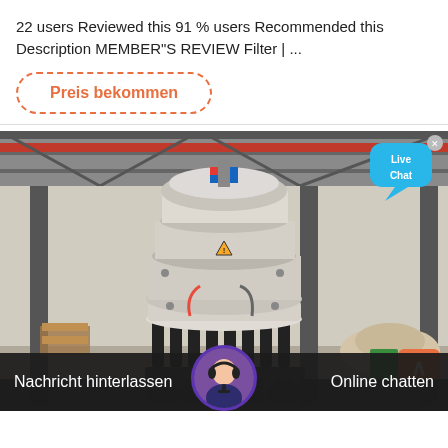22 users Reviewed this 91 % users Recommended this Description MEMBER"S REVIEW Filter | ...
Preis bekommen
[Figure (photo): Industrial cone crusher machine inside a factory/warehouse, with a live chat bubble overlay in the top right, and a customer service bottom bar with 'Nachricht hinterlassen' on the left and 'Online chatten' on the right]